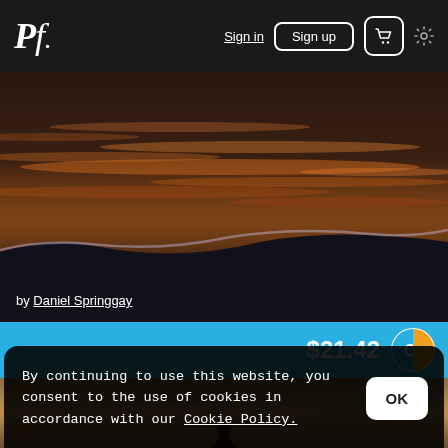Pf. Sign in Sign up [cart] [settings]
[Figure (photo): Ocean waves at sunset with orange reflections on dark water]
by Daniel Springgay
$21.42
[Figure (photo): Golden cloudy sunset sky with silhouette]
By continuing to use this website, you consent to the use of cookies in accordance with our Cookie Policy.